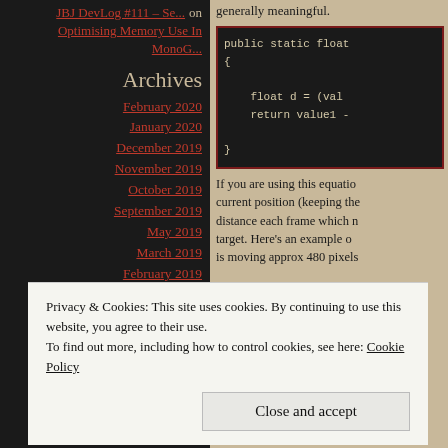JBJ DevLog #111 – Se... on Optimising Memory Use In MonoG...
Archives
February 2020
January 2020
December 2019
November 2019
October 2019
September 2019
May 2019
March 2019
February 2019
May 2018
generally meaningful.
[Figure (screenshot): Code block showing: public static float { float d = (val return value1 - }]
If you are using this equation current position (keeping the distance each frame which n target. Here's an example o is moving approx 480 pixels
Privacy & Cookies: This site uses cookies. By continuing to use this website, you agree to their use.
To find out more, including how to control cookies, see here: Cookie Policy